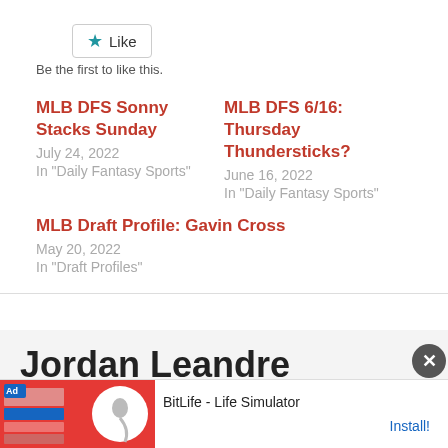[Figure (other): Like button with star icon]
Be the first to like this.
MLB DFS Sonny Stacks Sunday
July 24, 2022
In "Daily Fantasy Sports"
MLB DFS 6/16: Thursday Thundersticks?
June 16, 2022
In "Daily Fantasy Sports"
MLB Draft Profile: Gavin Cross
May 20, 2022
In "Draft Profiles"
Jordan Leandre
[Figure (photo): Author photo of Jordan Leandre wearing a baseball cap]
[Figure (other): Advertisement banner: BitLife - Life Simulator with Install button]